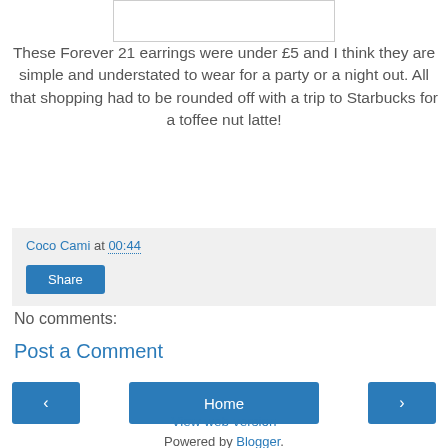[Figure (photo): Image placeholder at top of page (cropped photo, white box with border)]
These Forever 21 earrings were under £5 and I think they are simple and understated to wear for a party or a night out. All that shopping had to be rounded off with a trip to Starbucks for a toffee nut latte!
Coco Cami at 00:44
Share
No comments:
Post a Comment
‹
Home
›
View web version
Powered by Blogger.